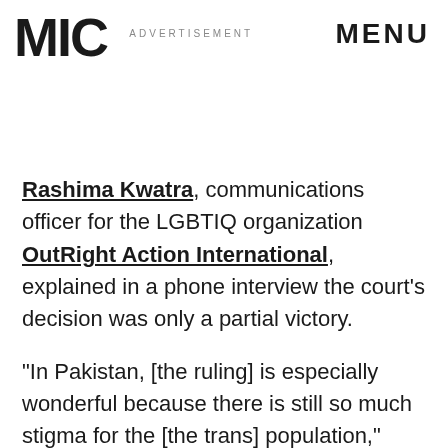MIC   ADVERTISEMENT   MENU
Rashima Kwatra, communications officer for the LGBTIQ organization OutRight Action International, explained in a phone interview the court's decision was only a partial victory.
"In Pakistan, [the ruling] is especially wonderful because there is still so much stigma for the [the trans] population," Kwatra said. "But it's important to note: I dont think trans men can access trans